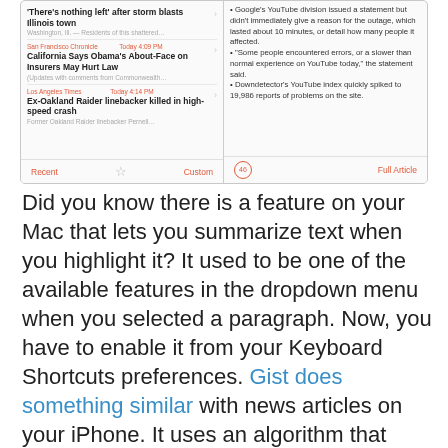[Figure (screenshot): Screenshot of a mobile news app (Gist) showing two panels: left panel with news headlines including 'There's nothing left' after storm blasts Illinois town, California Says Obama's About-Face on Insurers May Hurt Law, Ex-Oakland Raider linebacker killed in high-speed crash; right panel with bullet points about a YouTube outage. Bottom bars show Recent/Custom and Full Article controls.]
Did you know there is a feature on your Mac that lets you summarize text when you highlight it? It used to be one of the available features in the dropdown menu when you selected a paragraph. Now, you have to enable it from your Keyboard Shortcuts preferences. Gist does something similar with news articles on your iPhone. It uses an algorithm that summarizes articles into five bullet points. This app is available for $0.99.